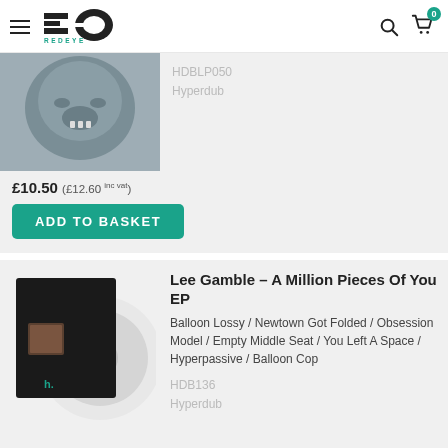Redeye Records
HDBLP050
Hyperdub
£10.50 (£12.60 inc vat)
ADD TO BASKET
Lee Gamble – A Million Pieces Of You EP
Balloon Lossy / Newtown Got Folded / Obsession Model / Empty Middle Seat / You Left A Space / Hyperpassive / Balloon Cop
HDB136
Hyperdub
£5.00 (£6.00 inc vat)